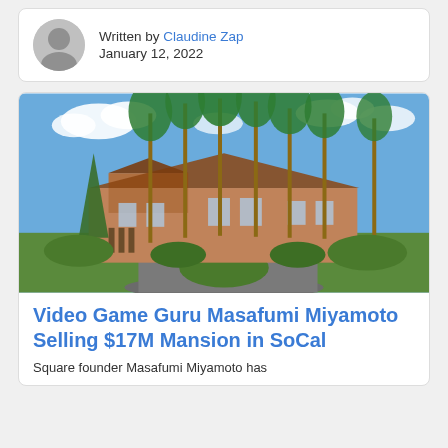Written by Claudine Zap
January 12, 2022
[Figure (photo): Exterior photo of a large estate/mansion with tall palm trees lining the driveway, blue sky with clouds, red-tiled roof, lush landscaping and circular drive.]
Video Game Guru Masafumi Miyamoto Selling $17M Mansion in SoCal
Square founder Masafumi Miyamoto has